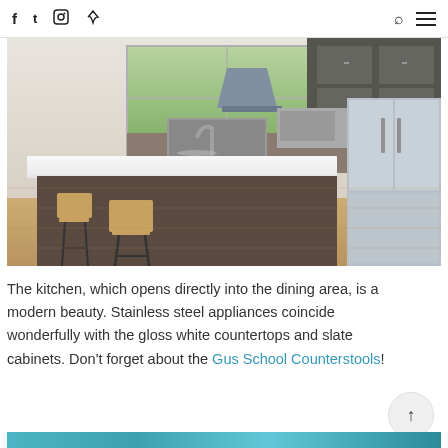f  Twitter  Instagram  Pinterest  [search] [menu]
[Figure (photo): Modern kitchen interior with a large white gloss island countertop, two Gus School wood-and-metal counter stools, dark slate cabinets, stainless steel appliances including a large refrigerator and range hood, and a large window with green trees visible outside. Light hardwood flooring.]
The kitchen, which opens directly into the dining area, is a modern beauty. Stainless steel appliances coincide wonderfully with the gloss white countertops and slate cabinets. Don't forget about the Gus School Counterstools!
[Figure (photo): Partial view of another room with blue/teal tones, cropped at bottom of page.]